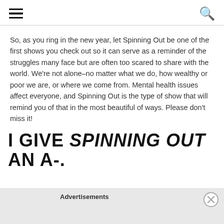[hamburger menu icon] [search icon]
So, as you ring in the new year, let Spinning Out be one of the first shows you check out so it can serve as a reminder of the struggles many face but are often too scared to share with the world. We're not alone–no matter what we do, how wealthy or poor we are, or where we come from. Mental health issues affect everyone, and Spinning Out is the type of show that will remind you of that in the most beautiful of ways. Please don't miss it!
I GIVE SPINNING OUT AN A-.
Advertisements